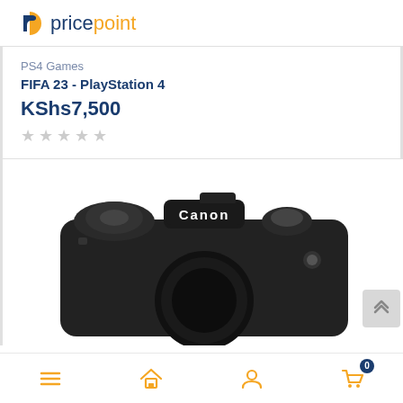pricepoint
PS4 Games
FIFA 23 - PlayStation 4
KShs7,500
[Figure (screenshot): Five empty star rating icons in light grey]
[Figure (photo): Canon DSLR camera top view, black body, showing Canon logo on the top panel]
Navigation bar with menu, home, user, and cart icons. Cart shows badge: 0